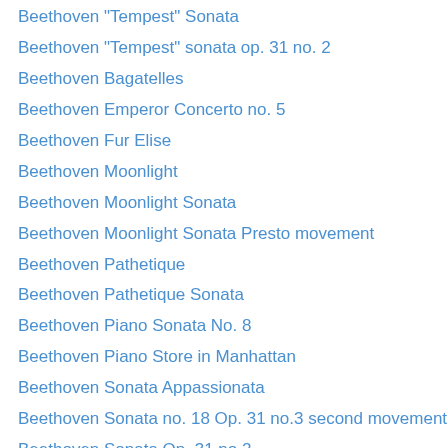Beethoven "Tempest" Sonata
Beethoven "Tempest" sonata op. 31 no. 2
Beethoven Bagatelles
Beethoven Emperor Concerto no. 5
Beethoven Fur Elise
Beethoven Moonlight
Beethoven Moonlight Sonata
Beethoven Moonlight Sonata Presto movement
Beethoven Pathetique
Beethoven Pathetique Sonata
Beethoven Piano Sonata No. 8
Beethoven Piano Store in Manhattan
Beethoven Sonata Appassionata
Beethoven Sonata no. 18 Op. 31 no.3 second movement
Beethoven Sonata Op. 31 no 2
Beethoven Sonata Pathetique
Beethoven Sonata Pathetique op. 13 in c minor
Beethoven Sonata Pathetique Op. 13 No. 8
Beethoven sonata quasi una fantasia
Beethoven Sonata in F Minor